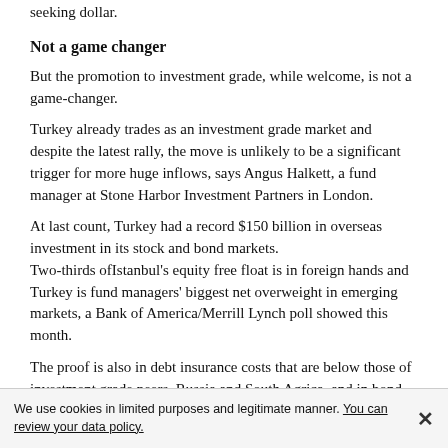seeking dollar.
Not a game changer
But the promotion to investment grade, while welcome, is not a game-changer.
Turkey already trades as an investment grade market and despite the latest rally, the move is unlikely to be a significant trigger for more huge inflows, says Angus Halkett, a fund manager at Stone Harbor Investment Partners in London.
At last count, Turkey had a record $150 billion in overseas investment in its stock and bond markets.
Two-thirds ofIstanbul’s equity free float is in foreign hands and Turkey is fund managers’ biggest net overweight in emerging markets, a Bank of America/Merrill Lynch poll showed this month.
The proof is also in debt insurance costs that are below those of investment grade peers, Russia and South Agrica, and in bond yields that
We use cookies in limited purposes and legitimate manner. You can review your data policy. ×